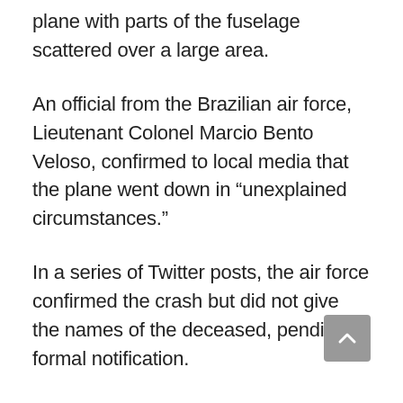plane with parts of the fuselage scattered over a large area.
An official from the Brazilian air force, Lieutenant Colonel Marcio Bento Veloso, confirmed to local media that the plane went down in “unexplained circumstances.”
In a series of Twitter posts, the air force confirmed the crash but did not give the names of the deceased, pending formal notification.
“A Brazilian Air Force P-3 airplane was in the air flying along the southern coast of the